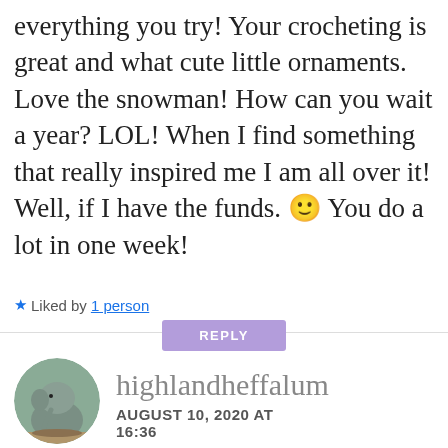everything you try! Your crocheting is great and what cute little ornaments. Love the snowman! How can you wait a year? LOL! When I find something that really inspired me I am all over it! Well, if I have the funds. 🙂 You do a lot in one week!
★ Liked by 1 person
REPLY
[Figure (photo): Circular avatar photo of a baby elephant]
highlandheffalum
AUGUST 10, 2020 AT 16:36